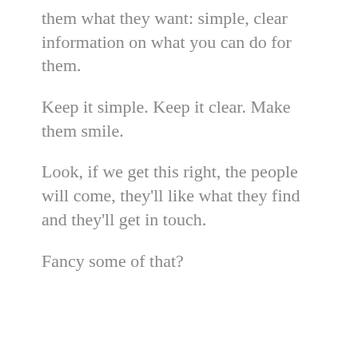them what they want: simple, clear information on what you can do for them.
Keep it simple. Keep it clear. Make them smile.
Look, if we get this right, the people will come, they'll like what they find and they'll get in touch.
Fancy some of that?